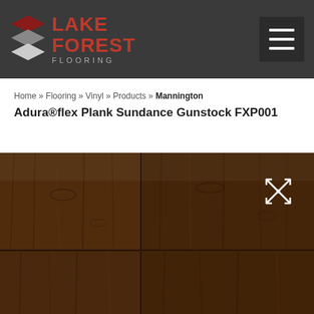[Figure (logo): Lake Forest Flooring logo with layered diamond shapes icon and text]
Home » Flooring » Vinyl » Products » Mannington Adura®flex Plank Sundance Gunstock FXP001
[Figure (photo): Dark brown wood grain vinyl plank flooring sample - Mannington Adura flex Plank Sundance Gunstock FXP001]